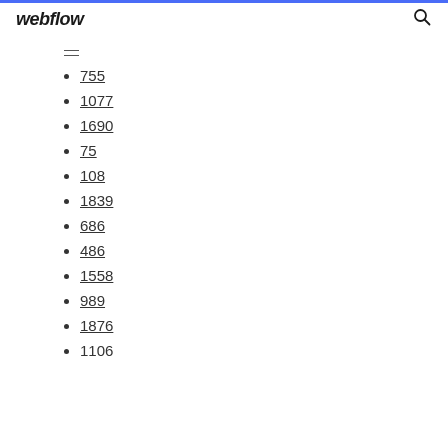webflow
—
755
1077
1690
75
108
1839
686
486
1558
989
1876
1106